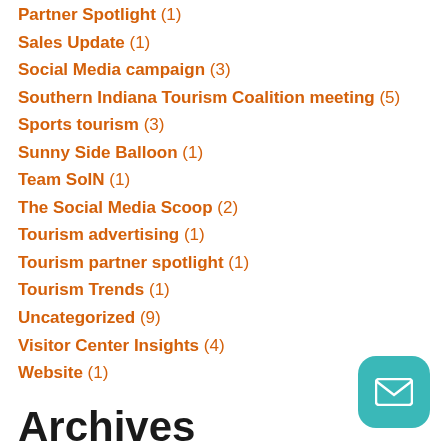Partner Spotlight (1)
Sales Update (1)
Social Media campaign (3)
Southern Indiana Tourism Coalition meeting (5)
Sports tourism (3)
Sunny Side Balloon (1)
Team SoIN (1)
The Social Media Scoop (2)
Tourism advertising (1)
Tourism partner spotlight (1)
Tourism Trends (1)
Uncategorized (9)
Visitor Center Insights (4)
Website (1)
Archives